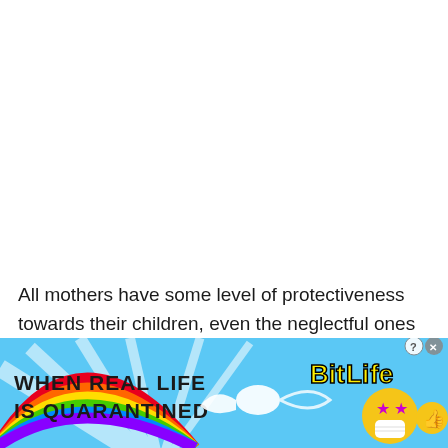All mothers have some level of protectiveness towards their children, even the neglectful ones will have it sporadically. Mothers have this for both girls and boys. Sons have a particular bond with mothers in
[Figure (illustration): Colorful advertisement banner for BitLife mobile game. Rainbow arc on left, sperm cell illustration in center, BitLife logo in yellow, cartoon character with star eyes and face mask on right, close buttons top right.]